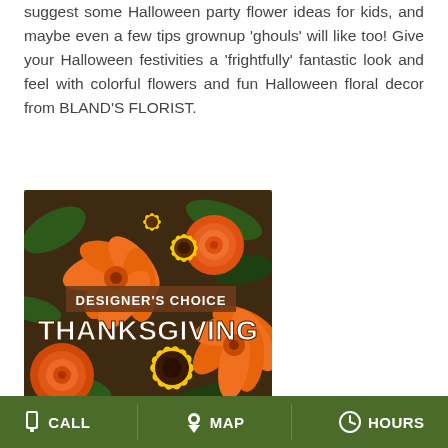suggest some Halloween party flower ideas for kids, and maybe even a few tips grownup 'ghouls' will like too! Give your Halloween festivities a 'frightfully' fantastic look and feel with colorful flowers and fun Halloween floral decor from BLAND'S FLORIST.
[Figure (photo): A colorful floral arrangement featuring orange lilies, orange roses, yellow sunflowers, and yellow daisies with green foliage. Overlaid text reads 'DESIGNER'S CHOICE' and 'THANKSGIVING' in bold white letters on a brown/dark background.]
Thanksgiving (USA)
CALL   MAP   HOURS